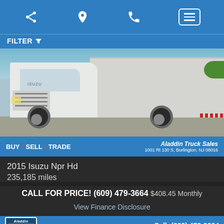Navigation bar with share, location, phone, and menu icons
FILTER
[Figure (photo): Front view of a white 2015 Isuzu NPR HD box truck in a parking lot]
BUY • SELL • TRADE  |  Aladdin Truck Sales  1001 Rt 130 S, Burlington, NJ 08016
2015 Isuzu Npr Hd
235,185 miles
CALL FOR PRICE! (609) 479-3664 $408.45 Monthly
View Finance Disclosure
Call: (609) 479-3664
[Figure (photo): Partial view of another truck listing preview at the bottom of the page]